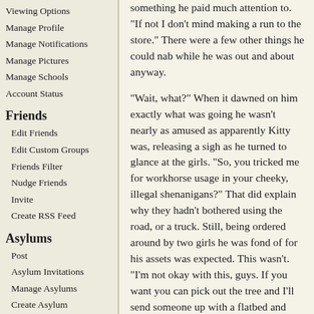Viewing Options
Manage Profile
Manage Notifications
Manage Pictures
Manage Schools
Account Status
Friends
Edit Friends
Edit Custom Groups
Friends Filter
Nudge Friends
Invite
Create RSS Feed
Asylums
Post
Asylum Invitations
Manage Asylums
Create Asylum
Site
Support
Upgrade Account
FAQs
Search By Location
"If not I don't mind making a run to the store." There were a few other things he could nab while he was out and about anyway.
"Wait, what?" When it dawned on him exactly what was going he wasn't nearly as amused as apparently Kitty was, releasing a sigh as he turned to glance at the girls. "So, you tricked me for workhorse usage in your cheeky, illegal shenanigans?" That did explain why they hadn't bothered using the road, or a truck. Still, being ordered around by two girls he was fond of for his assets was expected. This wasn't. "I'm not okay with this, guys. If you want you can pick out the tree and I'll send someone up with a flatbed and you guys can haul it back that way, but this isn't what I was told we were doing."
He offered the axe back to Kitty. "While you're out here I'll see if we